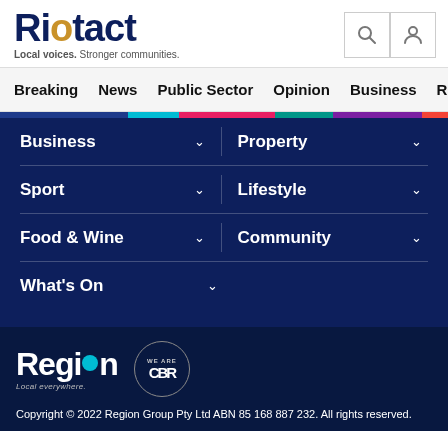[Figure (logo): Riotact logo with tagline 'Local voices. Stronger communities.' and search/user icons]
Breaking  News  Public Sector  Opinion  Business  R
[Figure (other): Color bar with sections: dark blue, cyan, pink/magenta, teal, purple, red]
Business
Property
Sport
Lifestyle
Food & Wine
Community
What's On
[Figure (logo): Region logo with 'Local everywhere.' tagline and 'WE ARE CBR' circular badge]
Copyright © 2022 Region Group Pty Ltd ABN 85 168 887 232. All rights reserved.